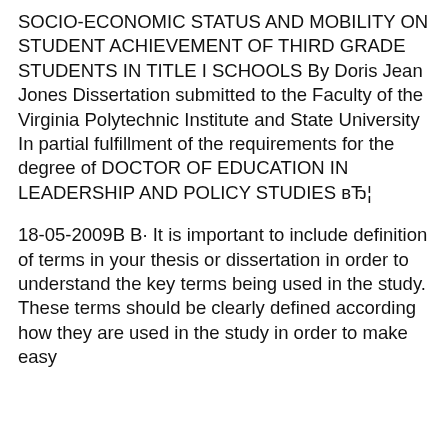SOCIO-ECONOMIC STATUS AND MOBILITY ON STUDENT ACHIEVEMENT OF THIRD GRADE STUDENTS IN TITLE I SCHOOLS By Doris Jean Jones Dissertation submitted to the Faculty of the Virginia Polytechnic Institute and State University In partial fulfillment of the requirements for the degree of DOCTOR OF EDUCATION IN LEADERSHIP AND POLICY STUDIES вЂ¦
18-05-2009В В· It is important to include definition of terms in your thesis or dissertation in order to understand the key terms being used in the study. These terms should be clearly defined according how they are used in the study in order to make easy